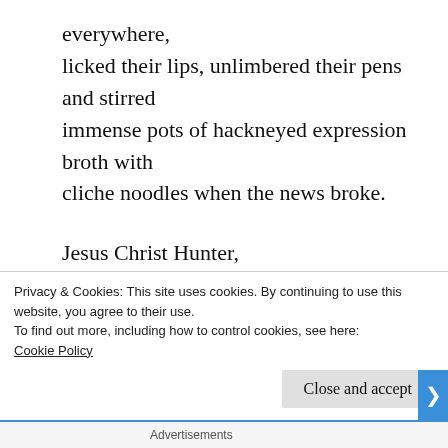everywhere,
licked their lips, unlimbered their pens and stirred
immense pots of hackneyed expression broth with
cliche noodles when the news broke.

Jesus Christ Hunter,
you have given lease to
the same bastards that
could barely wait until
Privacy & Cookies: This site uses cookies. By continuing to use this website, you agree to their use.
To find out more, including how to control cookies, see here: Cookie Policy
Close and accept
Advertisements